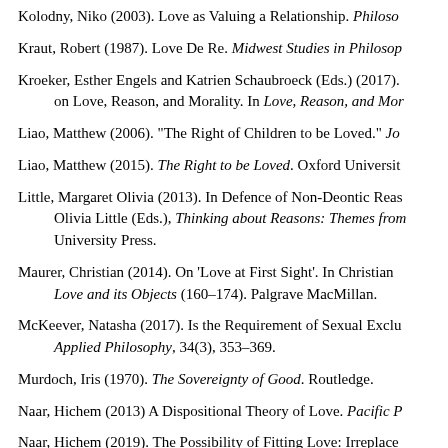Kolodny, Niko (2003). Love as Valuing a Relationship. Philoso...
Kraut, Robert (1987). Love De Re. Midwest Studies in Philosop...
Kroeker, Esther Engels and Katrien Schaubroeck (Eds.) (2017). on Love, Reason, and Morality. In Love, Reason, and Mor...
Liao, Matthew (2006). "The Right of Children to be Loved." Jo...
Liao, Matthew (2015). The Right to be Loved. Oxford Universit...
Little, Margaret Olivia (2013). In Defence of Non-Deontic Reas... Olivia Little (Eds.), Thinking about Reasons: Themes from... University Press.
Maurer, Christian (2014). On 'Love at First Sight'. In Christian Love and its Objects (160–174). Palgrave MacMillan.
McKeever, Natasha (2017). Is the Requirement of Sexual Exclu... Applied Philosophy, 34(3), 353–369.
Murdoch, Iris (1970). The Sovereignty of Good. Routledge.
Naar, Hichem (2013) A Dispositional Theory of Love. Pacific P...
Naar, Hichem (2019). The Possibility of Fitting Love: Irreplace... https://doi.org/10.1007/s11229-018-02079-4